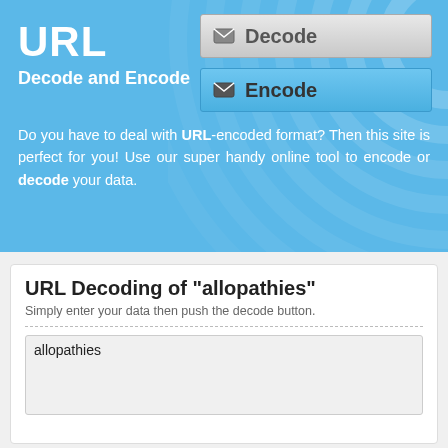URL
Decode and Encode
[Figure (other): Decode button with envelope icon, grey gradient background]
[Figure (other): Encode button with envelope icon, blue background]
Do you have to deal with URL-encoded format? Then this site is perfect for you! Use our super handy online tool to encode or decode your data.
URL Decoding of "allopathies"
Simply enter your data then push the decode button.
allopathies